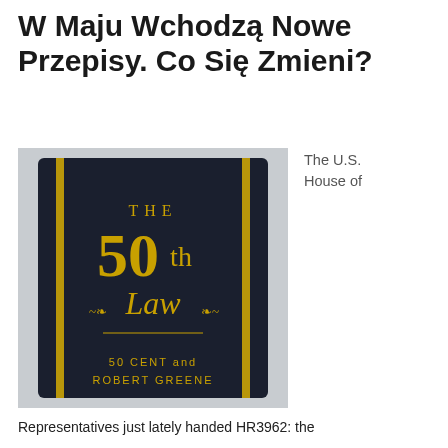W Maju Wchodzą Nowe Przepisy. Co Się Zmieni?
[Figure (photo): Photo of a dark navy hardcover book titled 'The 50th Law' by 50 Cent and Robert Greene, with gold lettering and ornamental design on the cover.]
The U.S. House of
Representatives just lately handed HR3962: the